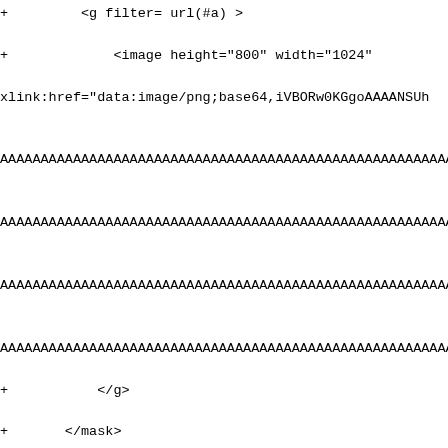+ <g filter= url(#a) >
+         <image height="800" width="1024"
xlink:href="data:image/png;base64,iVBORw0KGgoAAAANSUh
AAAAAAAAAAAAAAAAAAAAAAAAAAAAAAAAAAAAAAAAAAAAAAAAAAAAAAAAAAAAA

AAAAAAAAAAAAAAAAAAAAAAAAAAAAAAAAAAAAAAAAAAAAAAAAAAAAAAAAAAAAA

AAAAAAAAAAAAAAAAAAAAAAAAAAAAAAAAAAAAAAAAAAAAAAAAAAAAAAAAAAAAA

AAAAAAAAAAAAAAAAAAAAAAAAAAAAAAAAAAAAAAAAAAAAAAAAAAAAAAAAAAAAA
+           </g>
+       </mask>
+       <clipPath id="q">
+           <path d="m 0 0 h 1024 v 800 h -1024 z"/>
+       </clipPath>
+       <mask id="r">
+           <g filter="url(#a)">
+               <image height="800" width="1024"
xlink:href="data:image/png;base64,iVBORw0KGgoAAAANSUh